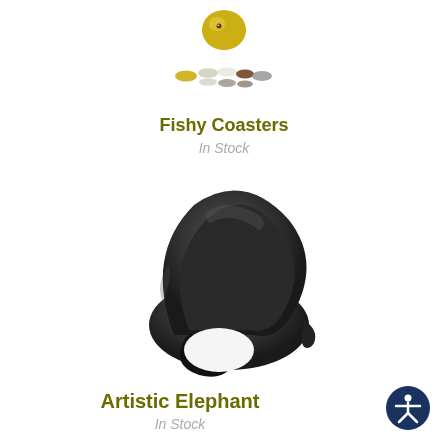[Figure (photo): Product photo of Fishy Coasters — a golden fish-shaped object at top with a row of oval coasters in various colors (gold, silver, white, brown, grey) arranged below it.]
Fishy Coasters
In Stock
[Figure (photo): Product photo of Artistic Elephant — a smooth, abstract dark black stone/soapstone sculpture of an elephant with its trunk curved up forming an arch, viewed from the front.]
Artistic Elephant
In Stock
[Figure (illustration): Accessibility icon — a dark navy blue circle containing a white stick figure with arms outstretched (universal accessibility symbol).]